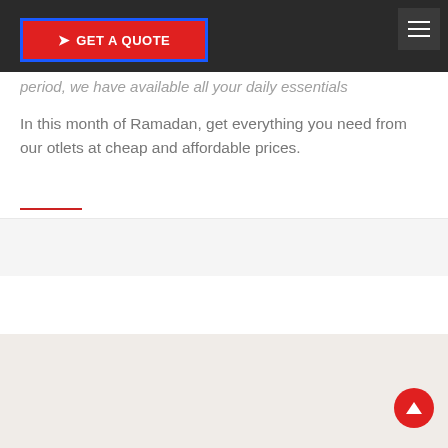[Figure (screenshot): Red 'GET A QUOTE' button with blue border and cursor/arrow icon, on dark navigation bar with hamburger menu icon top right]
period, we have available all your daily essentials
In this month of Ramadan, get everything you need from our otlets at cheap and affordable prices.
[Figure (logo): Brent brand logo - circular logo with red and blue chevron/arrow shapes and text 'BRENT stay healthy, stay happy', alongside an image of a woman holding a Brent shopping bag]